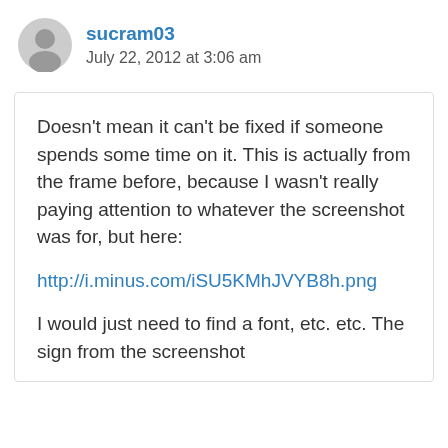sucram03
July 22, 2012 at 3:06 am
Doesn’t mean it can’t be fixed if someone spends some time on it. This is actually from the frame before, because I wasn’t really paying attention to whatever the screenshot was for, but here:
http://i.minus.com/iSU5KMhJVYB8h.png
I would just need to find a font, etc. etc. The sign from the screenshot